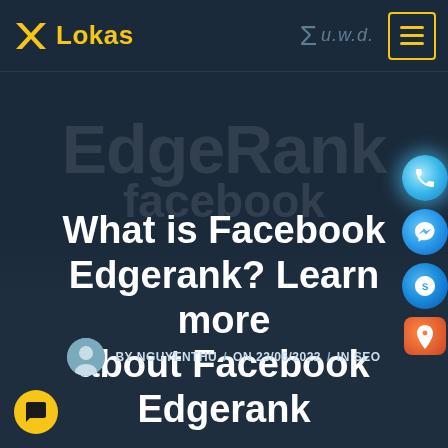Lokas — u.w.d.
[Figure (screenshot): Background watermark text showing 'EdgeRank' and 'facebook' in large semi-transparent letters]
What is Facebook Edgerank? Learn more about Facebook Edgerank
BY NGUYENTHU / ON 23/06/2022 / IN SEO
[Figure (illustration): Side floating buttons: phone (call), messenger, Skype, map location icons on right side]
[Figure (illustration): Bottom left yellow chat bubble button]